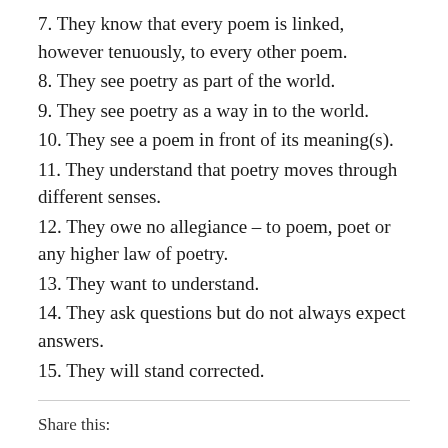7. They know that every poem is linked, however tenuously, to every other poem.
8. They see poetry as part of the world.
9. They see poetry as a way in to the world.
10. They see a poem in front of its meaning(s).
11. They understand that poetry moves through different senses.
12. They owe no allegiance – to poem, poet or any higher law of poetry.
13. They want to understand.
14. They ask questions but do not always expect answers.
15. They will stand corrected.
Share this: